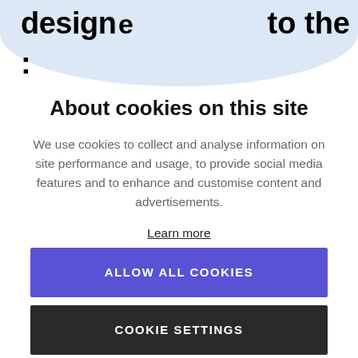desig n... to the :
About cookies on this site
We use cookies to collect and analyse information on site performance and usage, to provide social media features and to enhance and customise content and advertisements.
Learn more
ALLOW ALL COOKIES
COOKIE SETTINGS